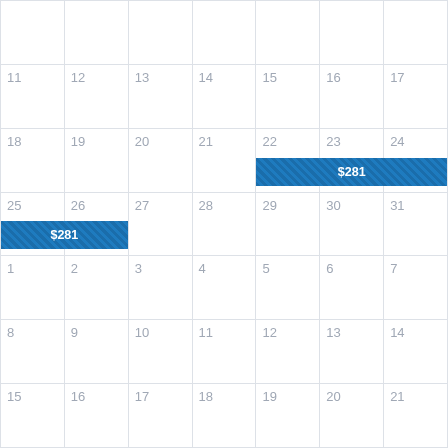[Figure (other): A calendar grid showing dates across multiple weeks. Two blue hatched event bars labeled '$281' span across date ranges: one from 22-24 and another from 25-26. Dates shown include rows: (empty row), 11-17, 18-24, 25-31, 1-7, 8-14, 15-21.]